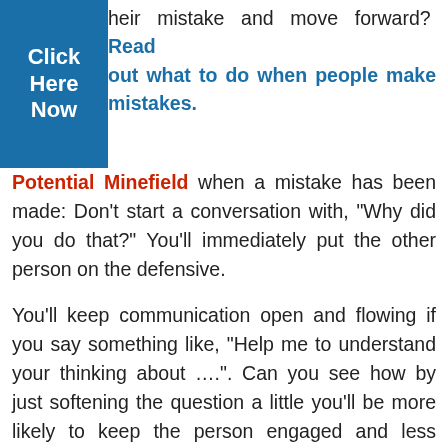[Figure (other): Blue 'Click Here Now' button in top-left corner]
their mistake and move forward? Read out what to do when people make mistakes.
Potential Minefield when a mistake has been made: Don't start a conversation with, "Why did you do that?" You'll immediately put the other person on the defensive.

You'll keep communication open and flowing if you say something like, "Help me to understand your thinking about ....". Can you see how by just softening the question a little you'll be more likely to keep the person engaged and less apprehensive?